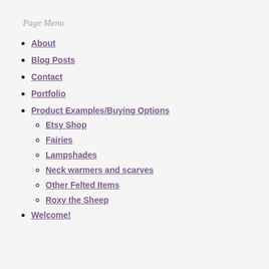Page Menu
About
Blog Posts
Contact
Portfolio
Product Examples/Buying Options
Etsy Shop
Fairies
Lampshades
Neck warmers and scarves
Other Felted Items
Roxy the Sheep
Welcome!